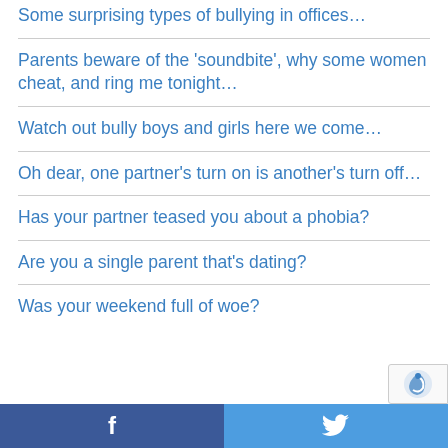Some surprising types of bullying in offices…
Parents beware of the 'soundbite', why some women cheat, and ring me tonight…
Watch out bully boys and girls here we come…
Oh dear, one partner's turn on is another's turn off…
Has your partner teased you about a phobia?
Are you a single parent that's dating?
Was your weekend full of woe?
f  🐦